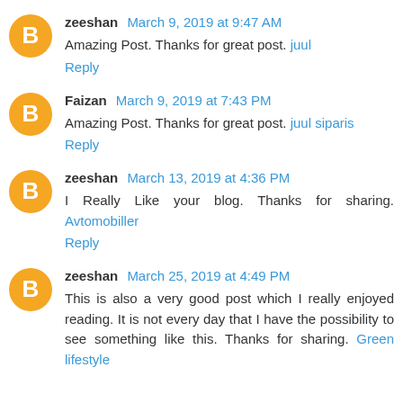zeeshan March 9, 2019 at 9:47 AM
Amazing Post. Thanks for great post. juul
Reply
Faizan March 9, 2019 at 7:43 PM
Amazing Post. Thanks for great post. juul siparis
Reply
zeeshan March 13, 2019 at 4:36 PM
I Really Like your blog. Thanks for sharing. Avtomobiller
Reply
zeeshan March 25, 2019 at 4:49 PM
This is also a very good post which I really enjoyed reading. It is not every day that I have the possibility to see something like this. Thanks for sharing. Green lifestyle